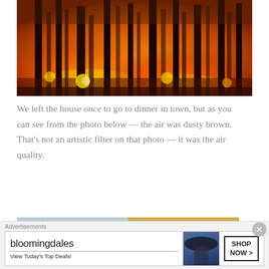[Figure (photo): Wildfire burning through a forest at night, trees silhouetted against intense orange flames and glowing embers, smoky atmosphere]
We left the house once to go to dinner in town, but as you can see from the photo below — the air was dusty brown. That's not an artistic filter on that photo — it was the air quality.
[Figure (photo): Partially visible second photo showing dusty brown air quality, split view with hazy sky on left and warm-toned right side]
Advertisements
[Figure (photo): Bloomingdale's advertisement banner: bloomingdales logo, 'View Today's Top Deals!', woman with wide-brim hat, 'SHOP NOW >' button]